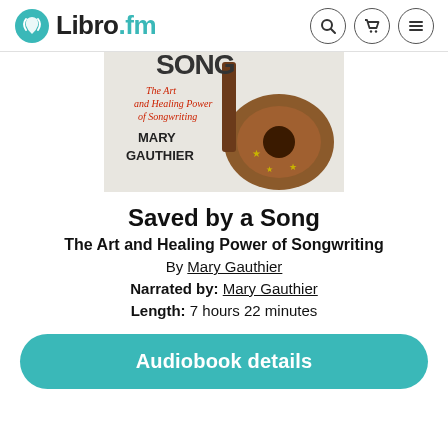Libro.fm
[Figure (photo): Book cover of 'Saved by a Song: The Art and Healing Power of Songwriting' by Mary Gauthier, showing a guitar on a light background with red subtitle text]
Saved by a Song
The Art and Healing Power of Songwriting
By Mary Gauthier
Narrated by: Mary Gauthier
Length: 7 hours 22 minutes
Audiobook details